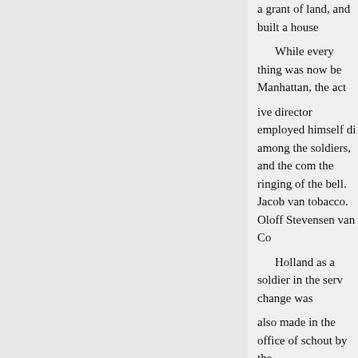a grant of land, and built a house
While every thing was now be Manhattan, the act
ive director employed himself di among the soldiers, and the com the ringing of the bell. Jacob van tobacco. Oloff Stevensen van Co
Holland as a soldier in the serv change was
also made in the office of schout by the
Amsterdam Chamber, upon Cor had so materially schout-fis- con
tion of New Netherland, was nei arrival of
Van der Huygens at Manhattan, U immediately appointed commissa council board.
Cornelis van der
rl